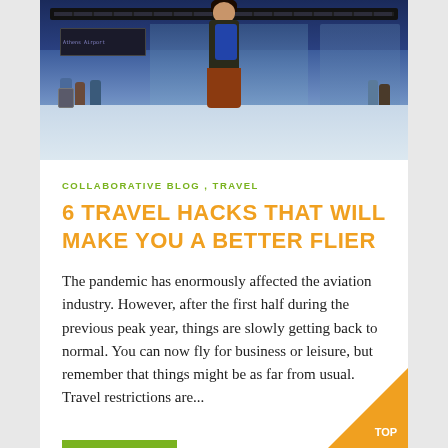[Figure (photo): Airport terminal scene with a woman with a backpack viewed from behind, other travelers visible in background]
COLLABORATIVE BLOG , TRAVEL
6 TRAVEL HACKS THAT WILL MAKE YOU A BETTER FLIER
The pandemic has enormously affected the aviation industry. However, after the first half during the previous peak year, things are slowly getting back to normal. You can now fly for business or leisure, but remember that things might be as far from usual. Travel restrictions are...